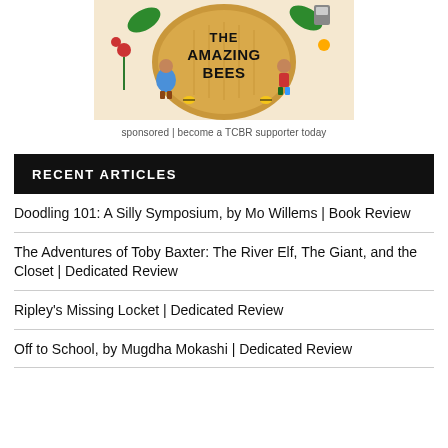[Figure (illustration): Book cover illustration for 'The Amazing Bees' showing cartoon children, bees, flowers, and plants around a golden honeycomb circle with bold text 'THE AMAZING BEES']
sponsored | become a TCBR supporter today
RECENT ARTICLES
Doodling 101: A Silly Symposium, by Mo Willems | Book Review
The Adventures of Toby Baxter: The River Elf, The Giant, and the Closet | Dedicated Review
Ripley's Missing Locket | Dedicated Review
Off to School, by Mugdha Mokashi | Dedicated Review